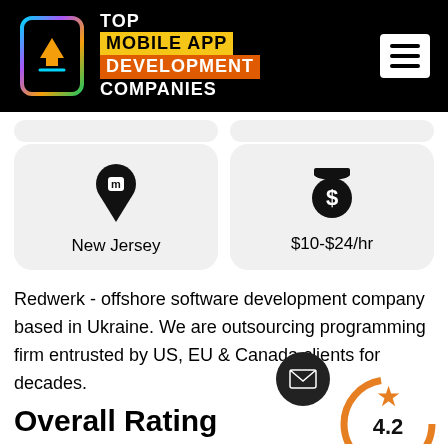TOP MOBILE APP DEVELOPMENT COMPANIES
[Figure (infographic): Location card showing a map pin icon with 'New Jersey' label]
[Figure (infographic): Pricing card showing a money bag icon with '$10-$24/hr' label]
Redwerk - offshore software development company based in Ukraine. We are outsourcing programming firm entrusted by US, EU & Canada clients for decades.
Overall Rating